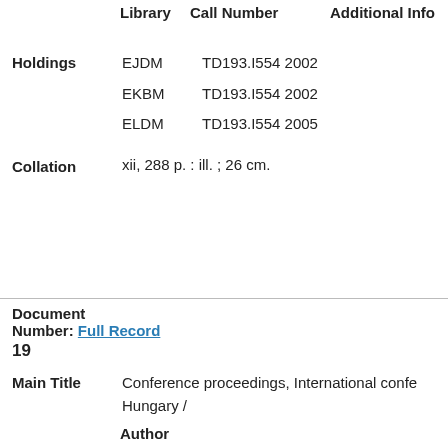|  | Library | Call Number | Additional Info |
| --- | --- | --- | --- |
| Holdings | EJDM | TD193.I554 2002 |  |
|  | EKBM | TD193.I554 2002 |  |
|  | ELDM | TD193.I554 2005 |  |
| Collation | xii, 288 p. : ill. ; 26 cm. |  |  |
Document Number: 19
Full Record
Main Title: Conference proceedings, International confe... Hungary /
Author